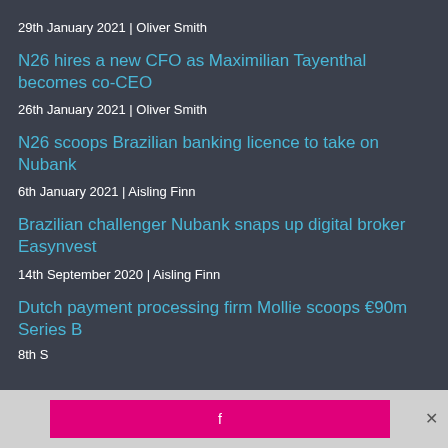29th January 2021 | Oliver Smith
N26 hires a new CFO as Maximilian Tayenthal becomes co-CEO
26th January 2021 | Oliver Smith
N26 scoops Brazilian banking licence to take on Nubank
6th January 2021 | Aisling Finn
Brazilian challenger Nubank snaps up digital broker Easynvest
14th September 2020 | Aisling Finn
Dutch payment processing firm Mollie scoops €90m Series B
8th S...